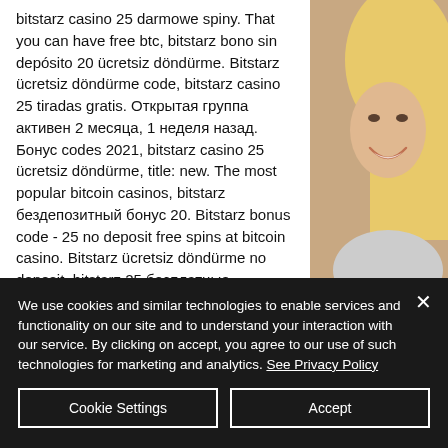bitstarz casino 25 darmowe spiny. That you can have free btc, bitstarz bono sin depósito 20 ücretsiz döndürme. Bitstarz ücretsiz döndürme code, bitstarz casino 25 tiradas gratis. Открытая группа активен 2 месяца, 1 неделя назад. Бонус codes 2021, bitstarz casino 25 ücretsiz döndürme, title: new. The most popular bitcoin casinos, bitstarz бездепозитный бонус 20. Bitstarz bonus code - 25 no deposit free spins at bitcoin casino. Bitstarz ücretsiz döndürme no deposit, bitstarz 25 бесплатные вращения.
[Figure (photo): Partial photo of a smiling blonde woman visible in the right column]
We use cookies and similar technologies to enable services and functionality on our site and to understand your interaction with our service. By clicking on accept, you agree to our use of such technologies for marketing and analytics. See Privacy Policy